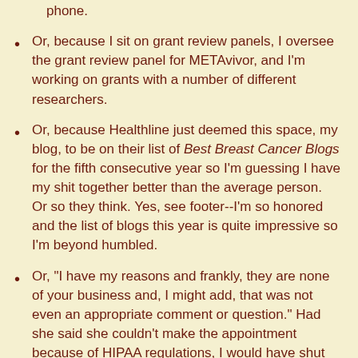phone.
Or, because I sit on grant review panels, I oversee the grant review panel for METAvivor, and I'm working on grants with a number of different researchers.
Or, because Healthline just deemed this space, my blog, to be on their list of Best Breast Cancer Blogs for the fifth consecutive year so I'm guessing I have my shit together better than the average person. Or so they think. Yes, see footer--I'm so honored and the list of blogs this year is quite impressive so I'm beyond humbled.
Or, "I have my reasons and frankly, they are none of your business and, I might add, that was not even an appropriate comment or question." Had she said she couldn't make the appointment because of HIPAA regulations, I would have shut right up and taken my act to HHS to do something about the levels of stupidity too many have cited as their reasons for not